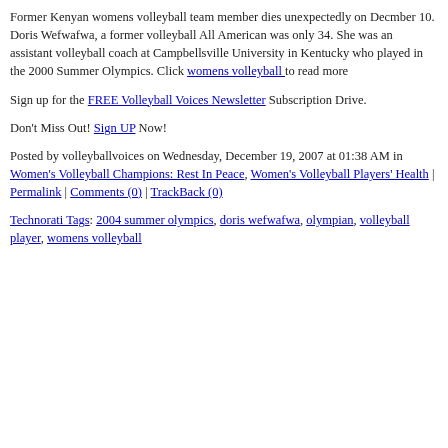Former Kenyan womens volleyball team member dies unexpectedly on Decmber 10. Doris Wefwafwa, a former volleyball All American was only 34. She was an assistant volleyball coach at Campbellsville University in Kentucky who played in the 2000 Summer Olympics. Click womens volleyball to read more
Sign up for the FREE Volleyball Voices Newsletter Subscription Drive.
Don't Miss Out! Sign UP Now!
Posted by volleyballvoices on Wednesday, December 19, 2007 at 01:38 AM in Women's Volleyball Champions: Rest In Peace, Women's Volleyball Players' Health | Permalink | Comments (0) | TrackBack (0)
Technorati Tags: 2004 summer olympics, doris wefwafwa, olympian, volleyball player, womens volleyball